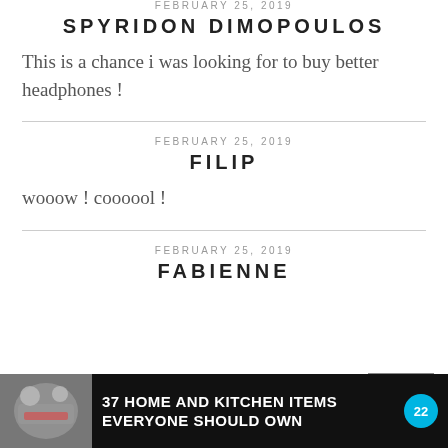FEBRUARY 25, 2019
SPYRIDON DIMOPOULOS
This is a chance i was looking for to buy better headphones !
FEBRUARY 25, 2019
FILIP
wooow ! coooool !
FEBRUARY 25, 2019
FABIENNE
[Figure (screenshot): Advertisement banner: '37 HOME AND KITCHEN ITEMS EVERYONE SHOULD OWN' with food image on dark background and a '22' badge. Overlaid close button in gray.]